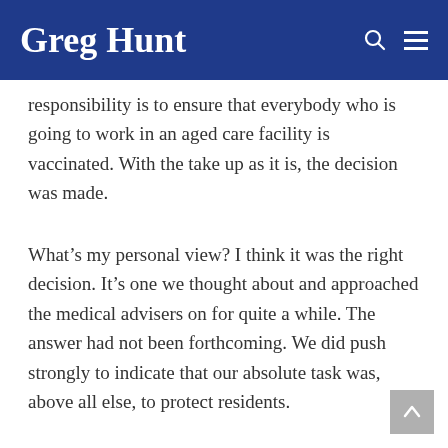Greg Hunt
responsibility is to ensure that everybody who is going to work in an aged care facility is vaccinated. With the take up as it is, the decision was made.
What’s my personal view? I think it was the right decision. It’s one we thought about and approached the medical advisers on for quite a while. The answer had not been forthcoming. We did push strongly to indicate that our absolute task was, above all else, to protect residents.
I’m pleased that the medical advisers saw it that way and